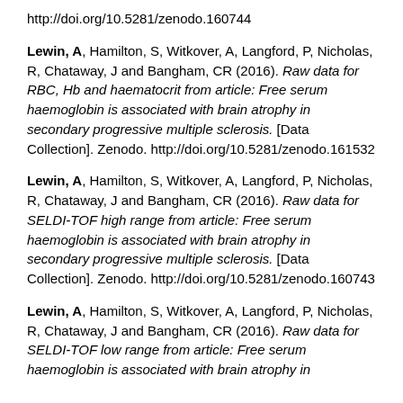http://doi.org/10.5281/zenodo.160744
Lewin, A, Hamilton, S, Witkover, A, Langford, P, Nicholas, R, Chataway, J and Bangham, CR (2016). Raw data for RBC, Hb and haematocrit from article: Free serum haemoglobin is associated with brain atrophy in secondary progressive multiple sclerosis. [Data Collection]. Zenodo. http://doi.org/10.5281/zenodo.161532
Lewin, A, Hamilton, S, Witkover, A, Langford, P, Nicholas, R, Chataway, J and Bangham, CR (2016). Raw data for SELDI-TOF high range from article: Free serum haemoglobin is associated with brain atrophy in secondary progressive multiple sclerosis. [Data Collection]. Zenodo. http://doi.org/10.5281/zenodo.160743
Lewin, A, Hamilton, S, Witkover, A, Langford, P, Nicholas, R, Chataway, J and Bangham, CR (2016). Raw data for SELDI-TOF low range from article: Free serum haemoglobin is associated with brain atrophy in